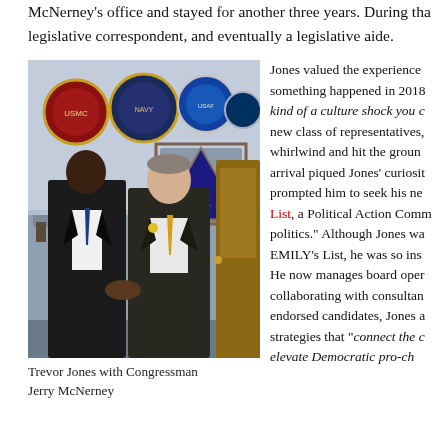McNerney's office and stayed for another three years. During that time he served as a legislative correspondent, and eventually a legislative aide.
[Figure (photo): Photo of Trevor Jones shaking hands with Congressman Jerry McNerney in an office with military plaques on the wall and a framed flag in the background.]
Trevor Jones with Congressman Jerry McNerney
Jones valued the experience and something happened in 2018 kind of a culture shock you c new class of representatives, whirlwind and hit the groun arrival piqued Jones' curiosi prompted him to seek his ne List, a Political Action Comm politics." Although Jones wa EMILY's List, he was so ins He now manages board oper collaborating with consultan endorsed candidates, Jones a strategies that "‘connect the c elevate Democratic pro-ch